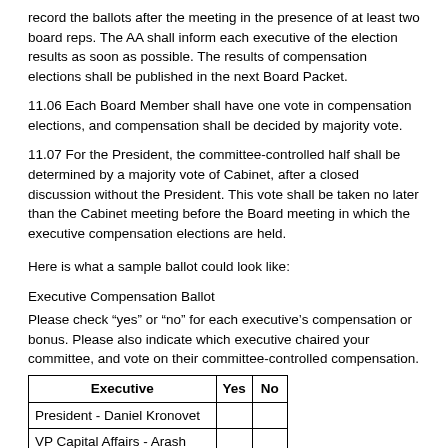record the ballots after the meeting in the presence of at least two board reps. The AA shall inform each executive of the election results as soon as possible. The results of compensation elections shall be published in the next Board Packet.
11.06 Each Board Member shall have one vote in compensation elections, and compensation shall be decided by majority vote.
11.07 For the President, the committee-controlled half shall be determined by a majority vote of Cabinet, after a closed discussion without the President. This vote shall be taken no later than the Cabinet meeting before the Board meeting in which the executive compensation elections are held.
Here is what a sample ballot could look like:
Executive Compensation Ballot
Please check “yes” or “no” for each executive’s compensation or bonus. Please also indicate which executive chaired your committee, and vote on their committee-controlled compensation.
| Executive | Yes | No |
| --- | --- | --- |
| President - Daniel Kronovet |  |  |
| VP Capital Affairs - Arash Taheri-Lotfi |  |  |